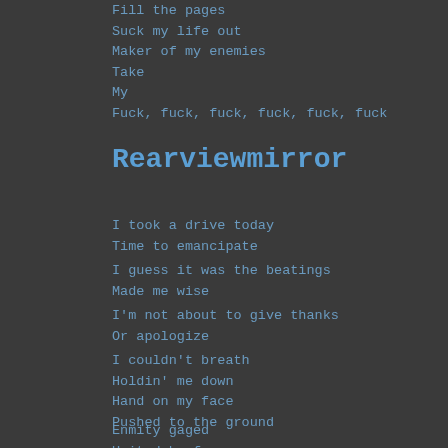Fill the pages
Suck my life out
Maker of my enemies
Take
My
Fuck, fuck, fuck, fuck, fuck, fuck
Rearviewmirror
I took a drive today
Time to emancipate
I guess it was the beatings
Made me wise
I'm not about to give thanks
Or apologize
I couldn't breath
Holdin' me down
Hand on my face
Pushed to the ground
Enmity gaged
United by fear
'Sposed to endure
What I could not forgive
I seemed to look away